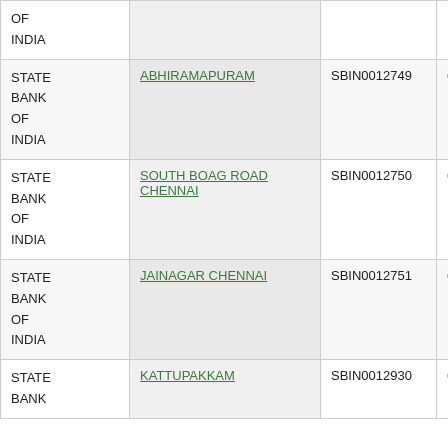| Bank | Branch | IFSC | MICR |
| --- | --- | --- | --- |
| STATE BANK OF INDIA |  |  |  |
| STATE BANK OF INDIA | ABHIRAMAPURAM | SBIN0012749 | 600002184 |
| STATE BANK OF INDIA | SOUTH BOAG ROAD CHENNAI | SBIN0012750 | 600002174 |
| STATE BANK OF INDIA | JAINAGAR CHENNAI | SBIN0012751 | 600002175 |
| STATE BANK OF INDIA | KATTUPAKKAM | SBIN0012930 | 600002912 |